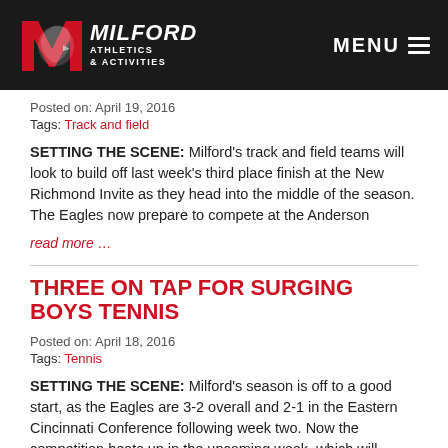[Figure (logo): Milford Athletics & Activities logo with eagle mascot on dark background header with MENU button]
Posted on: April 19, 2016
Tags: Track and field
SETTING THE SCENE:  Milford’s track and field teams will look to build off last week’s third place finish at the New Richmond Invite as they head into the middle of the season.   The Eagles now prepare to compete at the Anderson
read more …
THREE ON TAP FOR SURGING BOYS TENNIS
Posted on: April 18, 2016
Tags: Tennis
SETTING THE SCENE:  Milford’s season is off to a good start, as the Eagles are 3-2 overall and 2-1 in the Eastern Cincinnati Conference following week two.  Now the competition heats up in the upcoming week, which will challenge Milford but